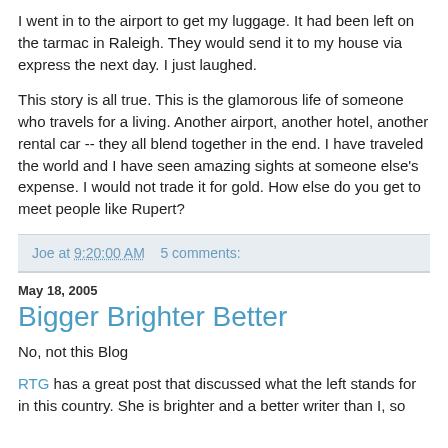I went in to the airport to get my luggage. It had been left on the tarmac in Raleigh. They would send it to my house via express the next day. I just laughed.
This story is all true. This is the glamorous life of someone who travels for a living. Another airport, another hotel, another rental car -- they all blend together in the end. I have traveled the world and I have seen amazing sights at someone else's expense. I would not trade it for gold. How else do you get to meet people like Rupert?
Joe at 9:20:00 AM    5 comments:
May 18, 2005
Bigger Brighter Better
No, not this Blog
RTG has a great post that discussed what the left stands for in this country. She is brighter and a better writer than I, so